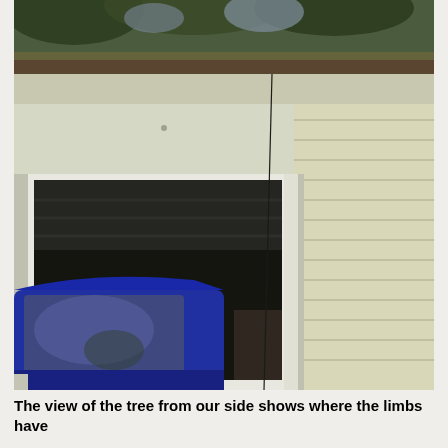[Figure (photo): Photograph taken from the side of a house showing the roofline and eaves of a garage or structure with an open garage door. Trees are visible in the upper background. A dark blue vehicle is partially visible in the lower-left foreground. The eaves/gutters appear to have debris. The view shows where tree limbs have affected the structure.]
The view of the tree from our side shows where the limbs have